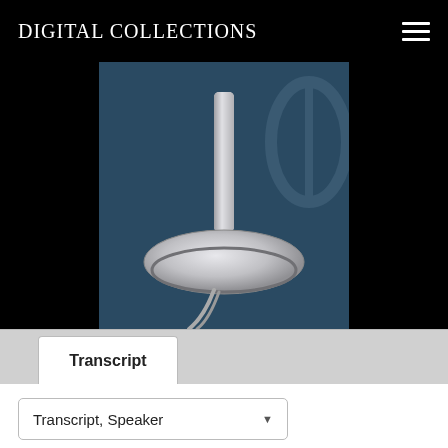Digital Collections
[Figure (illustration): Illustration of a microphone stand base on a dark blue background, cropped to show only the lower portion of the microphone stand and its circular base with a cable]
Transcript
Transcript, Speaker
← Prev  ↺ Same  → Next
▶ 0:02    EVELYN BAILEY: